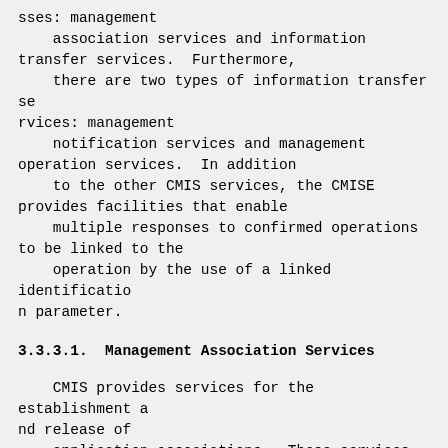sses: management
    association services and information transfer services.  Furthermore,
    there are two types of information transfer services: management
    notification services and management operation services.  In addition
    to the other CMIS services, the CMISE provides facilities that enable
    multiple responses to confirmed operations to be linked to the
    operation by the use of a linked identification parameter.
3.3.3.1.  Management Association Services
CMIS provides services for the establishment and release of
    application associations.  These services control the establishment
    and normal and abnormal release of a management association. These
    services are simply pass throughs to ACSE